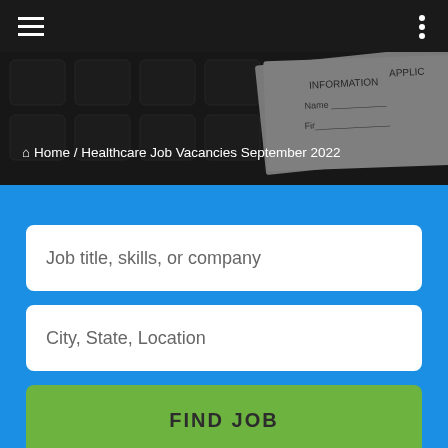[Figure (screenshot): Dark navigation bar with hamburger menu icon on the left and three vertical dots on the right, overlaid on a keyboard/application-form background hero image.]
Home / Healthcare Job Vacancies September 2022
Job title, skills, or company
City, State, Location
FIND JOB